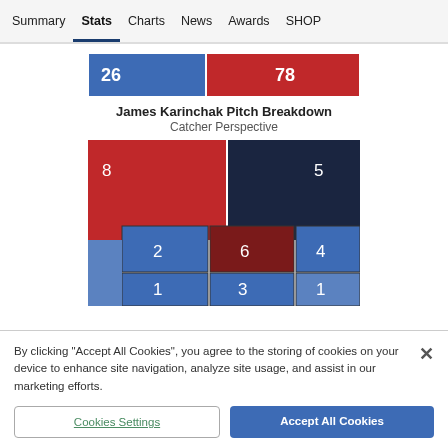Summary  Stats  Charts  News  Awards  SHOP
[Figure (infographic): Partial horizontal bar chart showing two colored bars: blue bar with value 26, red bar with value 78]
James Karinchak Pitch Breakdown
Catcher Perspective
[Figure (infographic): Pitch location grid (catcher perspective) showing colored zones with values: 8, 5, 2, 6, 4, 1, 3, 1]
By clicking “Accept All Cookies”, you agree to the storing of cookies on your device to enhance site navigation, analyze site usage, and assist in our marketing efforts.
Cookies Settings   Accept All Cookies